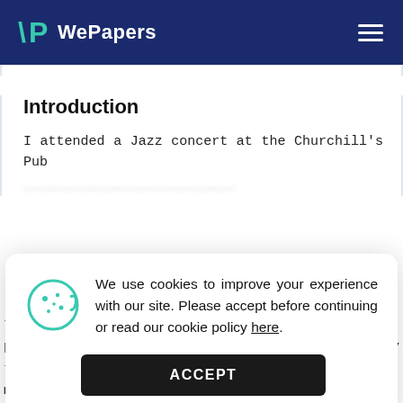WePapers
Introduction
I attended a Jazz concert at the Churchill's Pub
We use cookies to improve your experience with our site. Please accept before continuing or read our cookie policy here.
the fact that the pub operated since 1979. The pub is open from 11am to 3am with no necessity to make any reservation. As such, the lack of